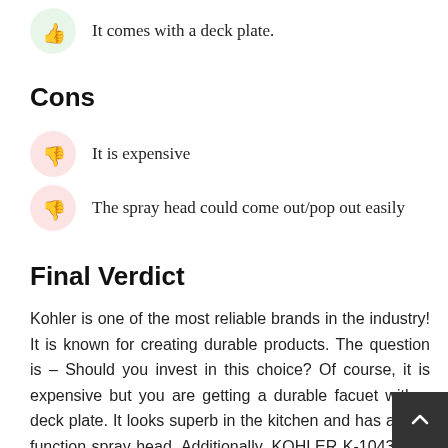It comes with a deck plate.
Cons
It is expensive
The spray head could come out/pop out easily
Final Verdict
Kohler is one of the most reliable brands in the industry! It is known for creating durable products. The question is – Should you invest in this choice? Of course, it is expensive but you are getting a durable facuet with a deck plate. It looks superb in the kitchen and has a two-function spray head. Additionally, KOHLER K-10433-VS has a hose and spray head that is pre-installed. If you can afford it, you must go for it.